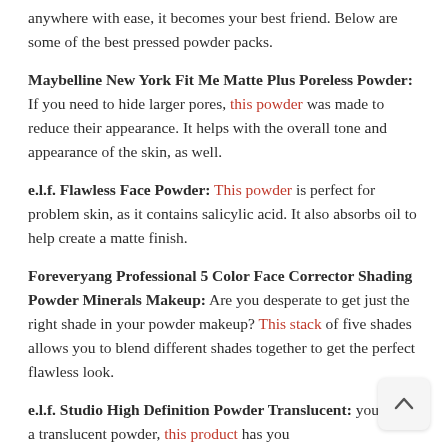anywhere with ease, it becomes your best friend. Below are some of the best pressed powder packs.
Maybelline New York Fit Me Matte Plus Poreless Powder: If you need to hide larger pores, this powder was made to reduce their appearance. It helps with the overall tone and appearance of the skin, as well.
e.l.f. Flawless Face Powder: This powder is perfect for problem skin, as it contains salicylic acid. It also absorbs oil to help create a matte finish.
Foreveryang Professional 5 Color Face Corrector Shading Powder Minerals Makeup: Are you desperate to get just the right shade in your powder makeup? This stack of five shades allows you to blend different shades together to get the perfect flawless look.
e.l.f. Studio High Definition Powder Translucent: you need a translucent powder, this product has you